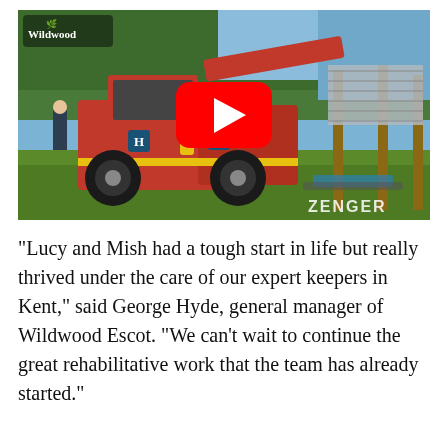[Figure (photo): A red telehandler/forklift machine parked on green grass at a construction site, with trees in the background and a wooden structure being built on the right. A YouTube play button overlay is shown in the center. A 'Wildwood' logo/watermark appears in the top-left, and a 'ZENGER' watermark appears in the bottom-right.]
“Lucy and Mish had a tough start in life but really thrived under the care of our expert keepers in Kent,” said George Hyde, general manager of Wildwood Escot. “We can’t wait to continue the great rehabilitative work that the team has already started.”